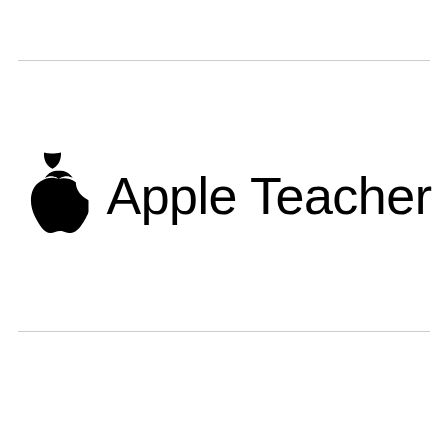[Figure (logo): Apple Teacher logo: black Apple logo icon on the left followed by the text 'Apple Teacher' in large sans-serif font]